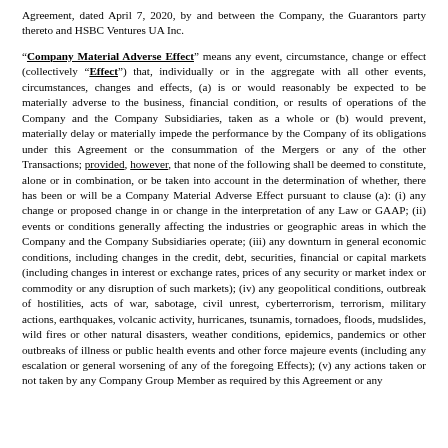Agreement, dated April 7, 2020, by and between the Company, the Guarantors party thereto and HSBC Ventures UA Inc.
"Company Material Adverse Effect" means any event, circumstance, change or effect (collectively "Effect") that, individually or in the aggregate with all other events, circumstances, changes and effects, (a) is or would reasonably be expected to be materially adverse to the business, financial condition, or results of operations of the Company and the Company Subsidiaries, taken as a whole or (b) would prevent, materially delay or materially impede the performance by the Company of its obligations under this Agreement or the consummation of the Mergers or any of the other Transactions; provided, however, that none of the following shall be deemed to constitute, alone or in combination, or be taken into account in the determination of whether, there has been or will be a Company Material Adverse Effect pursuant to clause (a): (i) any change or proposed change in or change in the interpretation of any Law or GAAP; (ii) events or conditions generally affecting the industries or geographic areas in which the Company and the Company Subsidiaries operate; (iii) any downturn in general economic conditions, including changes in the credit, debt, securities, financial or capital markets (including changes in interest or exchange rates, prices of any security or market index or commodity or any disruption of such markets); (iv) any geopolitical conditions, outbreak of hostilities, acts of war, sabotage, civil unrest, cyberterrorism, terrorism, military actions, earthquakes, volcanic activity, hurricanes, tsunamis, tornadoes, floods, mudslides, wild fires or other natural disasters, weather conditions, epidemics, pandemics or other outbreaks of illness or public health events and other force majeure events (including any escalation or general worsening of any of the foregoing Effects); (v) any actions taken or not taken by any Company Group Member as required by this Agreement or any